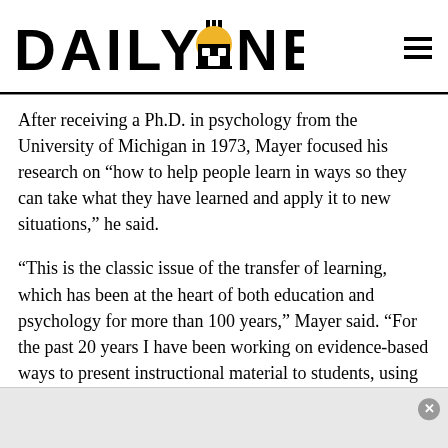DAILY NEXUS
After receiving a Ph.D. in psychology from the University of Michigan in 1973, Mayer focused his research on “how to help people learn in ways so they can take what they have learned and apply it to new situations,” he said.
“This is the classic issue of the transfer of learning, which has been at the heart of both education and psychology for more than 100 years,” Mayer said. “For the past 20 years I have been working on evidence-based ways to present instructional material to students, using both words and graphics.”